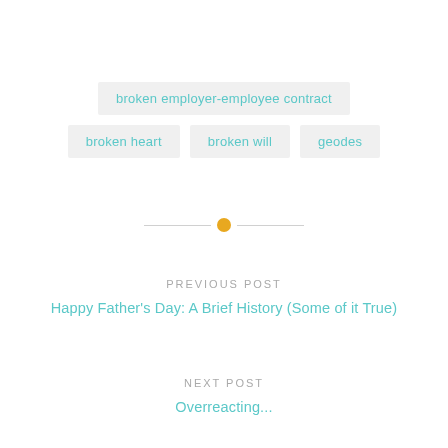broken employer-employee contract
broken heart
broken will
geodes
[Figure (other): Horizontal divider with an orange/yellow circle dot in the center, flanked by two thin gray lines]
PREVIOUS POST
Happy Father's Day: A Brief History (Some of it True)
NEXT POST
Overreacting...